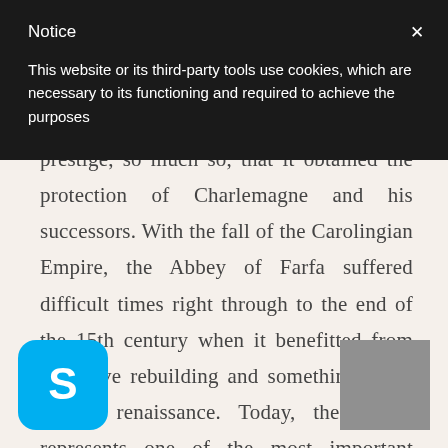Notice
This website or its third-party tools use cookies, which are necessary to its functioning and required to achieve the purposes
location, enjoyed tremendous power and prestige, so much so, that it obtained the protection of Charlemagne and his successors. With the fall of the Carolingian Empire, the Abbey of Farfa suffered difficult times right through to the end of the 15th century when it benefitted from extensive rebuilding and something of an artistic renaissance. Today, the Abbey represents one of the most important medieval monuments in Europe and since 1928, has been ated as a national monument. A Romanesque way leads to a courtyard facing the church which